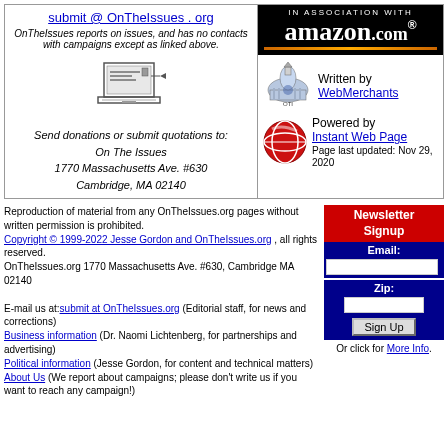submit @ OnTheIssues . org
OnTheIssues reports on issues, and has no contacts with campaigns except as linked above.
[Figure (illustration): Laptop/computer icon illustration]
Send donations or submit quotations to:
On The Issues
1770 Massachusetts Ave. #630
Cambridge, MA 02140
[Figure (logo): IN ASSOCIATION WITH amazon.com logo banner]
[Figure (logo): OTI (On The Issues) logo with capitol dome]
Written by WebMerchants
[Figure (logo): Instant Web Page logo - red globe]
Powered by Instant Web Page
Page last updated: Nov 29, 2020
Reproduction of material from any OnTheIssues.org pages without written permission is prohibited.
Copyright © 1999-2022 Jesse Gordon and OnTheIssues.org , all rights reserved.
OnTheIssues.org 1770 Massachusetts Ave. #630, Cambridge MA 02140
E-mail us at:submit at OnTheIssues.org (Editorial staff, for news and corrections)
Business information (Dr. Naomi Lichtenberg, for partnerships and advertising)
Political information (Jesse Gordon, for content and technical matters)
About Us (We report about campaigns; please don't write us if you want to reach any campaign!)
Newsletter Signup
Email:
Zip:
Sign Up
Or click for More Info.